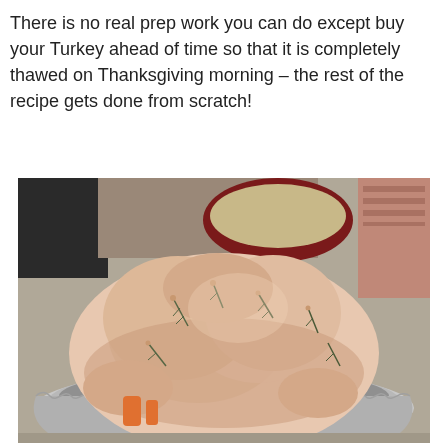There is no real prep work you can do except buy your Turkey ahead of time so that it is completely thawed on Thanksgiving morning – the rest of the recipe gets done from scratch!
[Figure (photo): A raw turkey in a silver aluminum roasting pan, studded with herb sprigs (rosemary), with vegetables visible underneath. In the background there is a dark bowl with stuffing mixture and what appears to be a package of bacon or meat slices.]